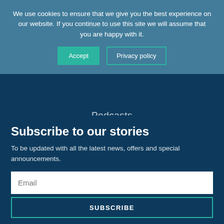We use cookies to ensure that we give you the best experience on our website. If you continue to use this site we will assume that you are happy with it.
Accept
Privacy policy
Podcasts
eMagazine
More
Subscribe to our stories
To be updated with all the latest news, offers and special announcements.
Email
SUBSCRIBE